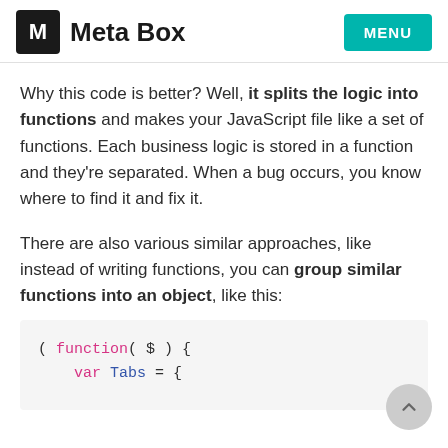Meta Box  MENU
Why this code is better? Well, it splits the logic into functions and makes your JavaScript file like a set of functions. Each business logic is stored in a function and they're separated. When a bug occurs, you know where to find it and fix it.
There are also various similar approaches, like instead of writing functions, you can group similar functions into an object, like this:
[Figure (screenshot): Code block showing JavaScript: ( function( $ ) { var Tabs = {]